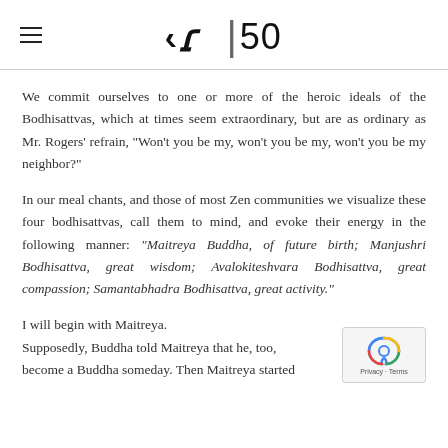≺|50
We commit ourselves to one or more of the heroic ideals of the Bodhisattvas, which at times seem extraordinary, but are as ordinary as Mr. Rogers' refrain, "Won't you be my, won't you be my, won't you be my neighbor?"
In our meal chants, and those of most Zen communities we visualize these four bodhisattvas, call them to mind, and evoke their energy in the following manner: "Maitreya Buddha, of future birth; Manjushri Bodhisattva, great wisdom; Avalokiteshvara Bodhisattva, great compassion; Samantabhadra Bodhisattva, great activity."
I will begin with Maitreya.
Supposedly, Buddha told Maitreya that he, too, become a Buddha someday. Then Maitreya started